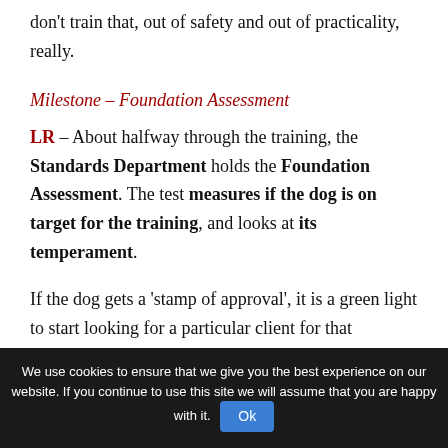don't train that, out of safety and out of practicality, really.
Milestone – Foundation Assessment
LR – About halfway through the training, the Standards Department holds the Foundation Assessment. The test measures if the dog is on target for the training, and looks at its temperament.
If the dog gets a 'stamp of approval', it is a green light to start looking for a particular client for that
We use cookies to ensure that we give you the best experience on our website. If you continue to use this site we will assume that you are happy with it. Ok